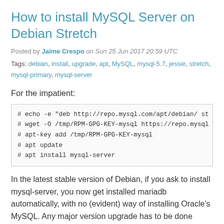How to install MySQL Server on Debian Stretch
Posted by Jaime Crespo on Sun 25 Jun 2017 20:59 UTC
Tags: debian, install, upgrade, apt, MySQL, mysql-5.7, jessie, stretch, mysql-primary, mysql-server
For the impatient:
# echo -e "deb http://repo.mysql.com/apt/debian/ st
# wget -O /tmp/RPM-GPG-KEY-mysql https://repo.mysql
# apt-key add /tmp/RPM-GPG-KEY-mysql
# apt update
# apt install mysql-server
In the latest stable version of Debian, if you ask to install mysql-server, you now get installed mariadb automatically, with no (evident) way of installing Oracle's MySQL. Any major version upgrade has to be done carefully (not only for MariaDB, but also for MySQL and Postgres), and I bet that a MySQL 5.5 to MariaDB 10.1 will cause a huge confusion. Not only it will fail upon expectations, I think this will cause large